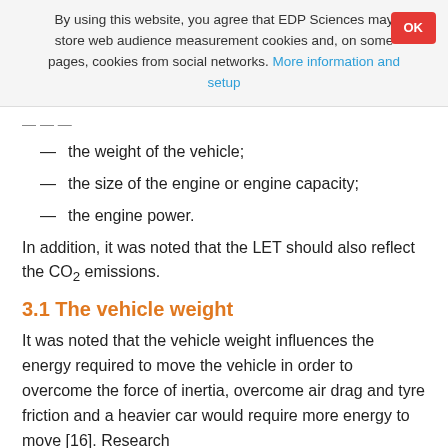By using this website, you agree that EDP Sciences may store web audience measurement cookies and, on some pages, cookies from social networks. More information and setup
the weight of the vehicle;
the size of the engine or engine capacity;
the engine power.
In addition, it was noted that the LET should also reflect the CO₂ emissions.
3.1 The vehicle weight
It was noted that the vehicle weight influences the energy required to move the vehicle in order to overcome the force of inertia, overcome air drag and tyre friction and a heavier car would require more energy to move [16]. Research